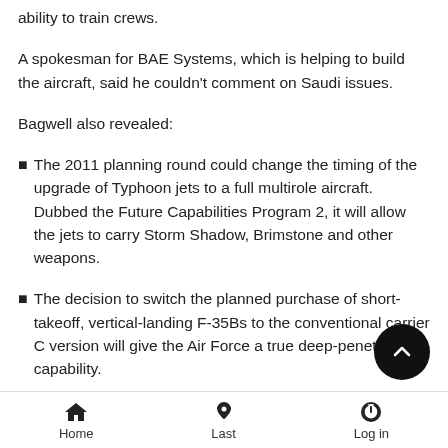ability to train crews.
A spokesman for BAE Systems, which is helping to build the aircraft, said he couldn't comment on Saudi issues.
Bagwell also revealed:
The 2011 planning round could change the timing of the upgrade of Typhoon jets to a full multirole aircraft. Dubbed the Future Capabilities Program 2, it will allow the jets to carry Storm Shadow, Brimstone and other weapons.
The decision to switch the planned purchase of short-takeoff, vertical-landing F-35Bs to the conventional carrier C version will give the Air Force a true deep-penetration capability.
The Sentinel R1 surveillance capability, to be axed by the government after the Afghanistan war, could be replaced
Home   Last   Log in